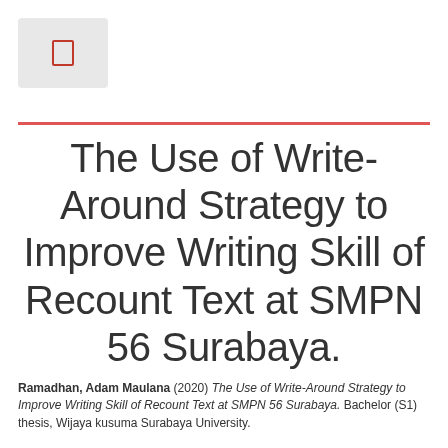[Figure (other): Small document/file icon in a light grey box in the top-left corner]
The Use of Write-Around Strategy to Improve Writing Skill of Recount Text at SMPN 56 Surabaya.
Ramadhan, Adam Maulana (2020) The Use of Write-Around Strategy to Improve Writing Skill of Recount Text at SMPN 56 Surabaya. Bachelor (S1) thesis, Wijaya kusuma Surabaya University.